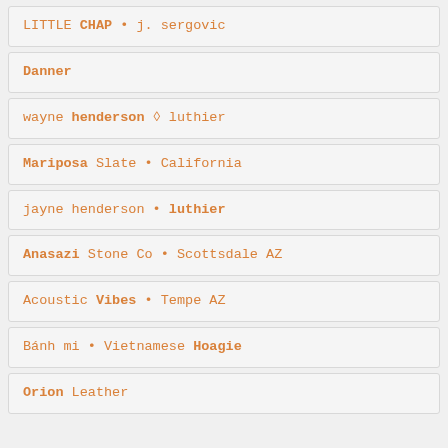LITTLE CHAP • j. sergovic
Danner
wayne henderson ◊ luthier
Mariposa Slate • California
jayne henderson • luthier
Anasazi Stone Co • Scottsdale AZ
Acoustic Vibes • Tempe AZ
Bánh mi • Vietnamese Hoagie
Orion Leather